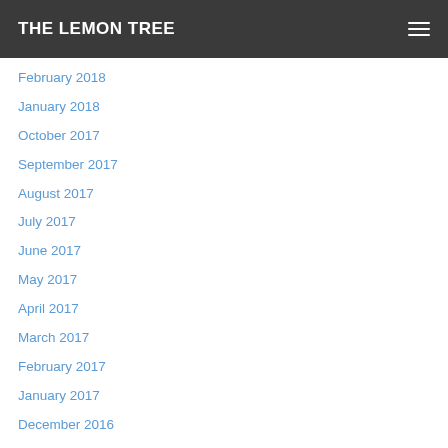THE LEMON TREE
February 2018
January 2018
October 2017
September 2017
August 2017
July 2017
June 2017
May 2017
April 2017
March 2017
February 2017
January 2017
December 2016
November 2016
October 2016
September 2016
August 2016